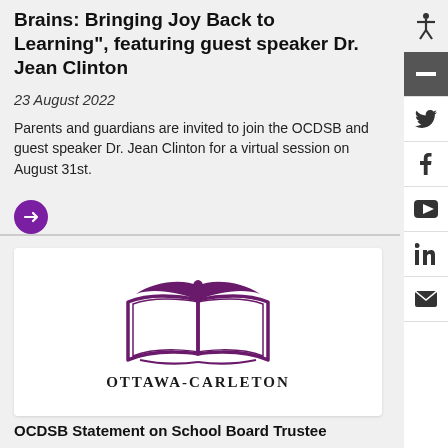Brains: Bringing Joy Back to Learning", featuring guest speaker Dr. Jean Clinton
23 August 2022
Parents and guardians are invited to join the OCDSB and guest speaker Dr. Jean Clinton for a virtual session on August 31st.
[Figure (logo): Ottawa-Carleton District School Board logo — purple stylized open book with bird/wings motif above, text OTTAWA-CARLETON below]
OCDSB Statement on School Board Trustee